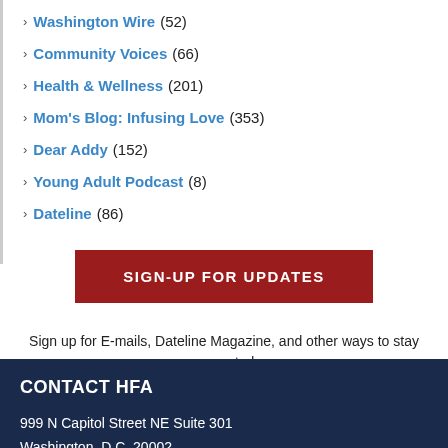Washington Wire (52)
Community Voices (66)
Health & Wellness (201)
Mom's Blog: Infusing Love (353)
Dear Addy (152)
Young Adult Podcast (8)
Dateline (86)
SIGN-UP FOR UPDATES
Sign up for E-mails, Dateline Magazine, and other ways to stay connected.
CONTACT HFA
999 N Capitol Street NE Suite 301
Washington, D.C. 20002